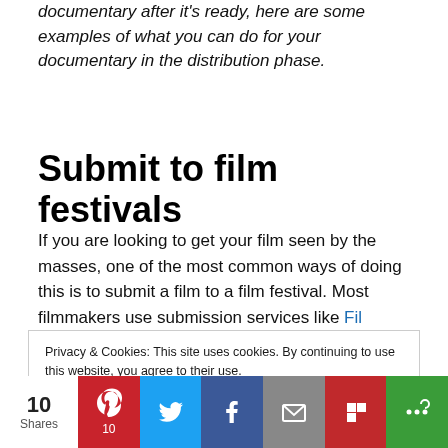documentary after it's ready, here are some examples of what you can do for your documentary in the distribution phase.
Submit to film festivals
If you are looking to get your film seen by the masses, one of the most common ways of doing this is to submit a film to a film festival. Most filmmakers use submission services like Fil…
Privacy & Cookies: This site uses cookies. By continuing to use this website, you agree to their use.
To find out more, including how to control cookies, see here:
Cookie Policy
10 Shares — Share buttons: Pinterest (10), Twitter, Facebook, Email, Flipboard, More